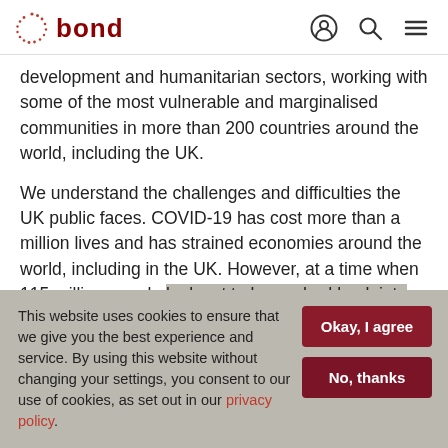bond
development and humanitarian sectors, working with some of the most vulnerable and marginalised communities in more than 200 countries around the world, including the UK.
We understand the challenges and difficulties the UK public faces. COVID-19 has cost more than a million lives and has strained economies around the world, including in the UK. However, at a time when 115 million people look set to be pushed back into extreme poverty, now is
This website uses cookies to ensure that we give you the best experience and service. By using this website without changing your settings, you consent to our use of cookies, as set out in our privacy policy.